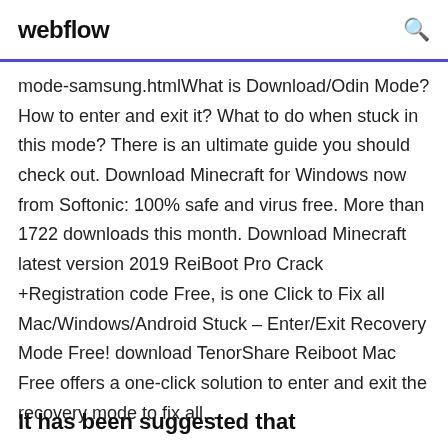webflow
mode-samsung.htmlWhat is Download/Odin Mode? How to enter and exit it? What to do when stuck in this mode? There is an ultimate guide you should check out. Download Minecraft for Windows now from Softonic: 100% safe and virus free. More than 1722 downloads this month. Download Minecraft latest version 2019 ReiBoot Pro Crack +Registration code Free, is one Click to Fix all Mac/Windows/Android Stuck – Enter/Exit Recovery Mode Free! download TenorShare Reiboot Mac Free offers a one-click solution to enter and exit the recovery mode to fix all...
It has been suggested that